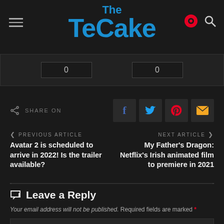The TeCake
0   0
SHARE ON
< PREVIOUS ARTICLE
Avatar 2 is scheduled to arrive in 2022! Is the trailer available?
NEXT ARTICLE >
My Father's Dragon: Netflix's Irish animated film to premiere in 2021
Leave a Reply
Your email address will not be published. Required fields are marked *
Leave Your Comment